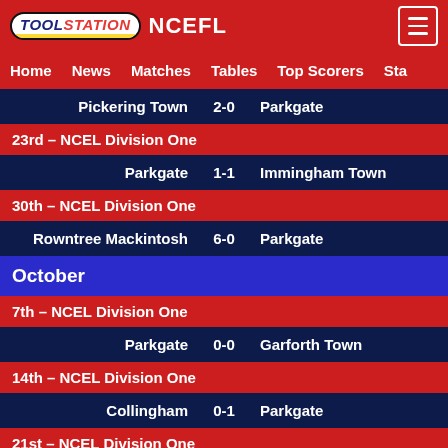TOOLSTATION NCEFL
Home  News  Matches  Tables  Top Scorers  Sta
Pickering Town  2-0  Parkgate
23rd – NCEL Division One
Parkgate  1-1  Immingham Town
30th – NCEL Division One
Rowntree Mackintosh  6-0  Parkgate
October
7th – NCEL Division One
Parkgate  0-0  Garforth Town
14th – NCEL Division One
Collingham  0-1  Parkgate
21st – NCEL Division One
Parkgate  2-0  Mexborough Town